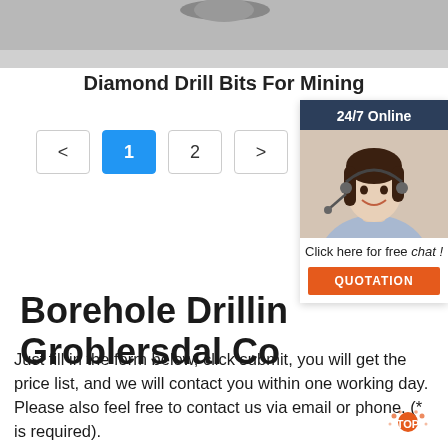[Figure (photo): Top portion of a photo showing a drill bit or mining equipment, gray/metallic texture]
Diamond Drill Bits For Mining
[Figure (screenshot): Pagination controls with buttons: <, 1 (active/blue), 2, > alongside a 24/7 Online chat widget featuring a woman with headset, 'Click here for free chat!' text and an orange QUOTATION button]
Borehole Drilling Groblersdal Co
Just fill in the form below, click submit, you will get the price list, and we will contact you within one working day. Please also feel free to contact us via email or phone. (* is required).